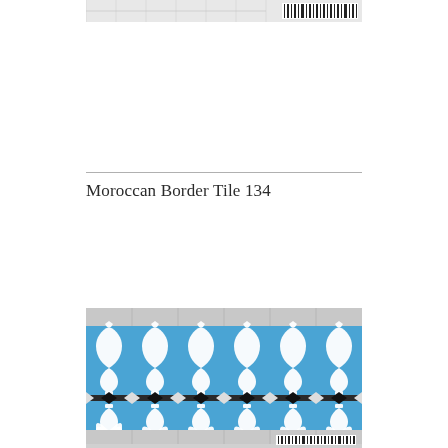[Figure (photo): Top portion of a Moroccan border tile pattern shown as a wide horizontal strip with faint tiled design and a barcode on the right end.]
Moroccan Border Tile 134
[Figure (photo): Moroccan border tile pattern featuring repeating white ornamental fleur-de-lis style shapes on a blue background, with a row of black diamond shapes along the center horizontal band. The tile section is bordered by light grey plain tile strips at top and bottom. A barcode is visible at the bottom right.]